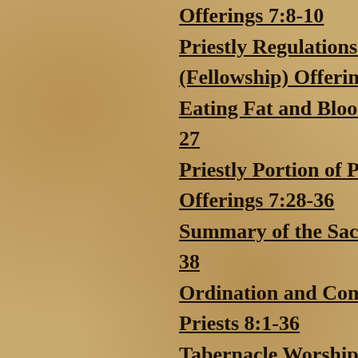Offerings  7:8-10
Priestly Regulations for
(Fellowship) Offering
Eating Fat and Blood Fo
27
Priestly Portion of Peac
Offerings  7:28-36
Summary of the Sacific
38
Ordination and Consec
Priests  8:1-36
Tabernacle Worship Be